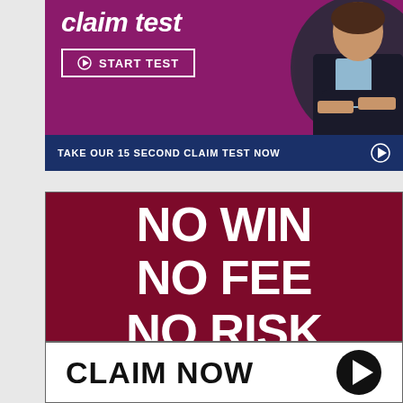[Figure (infographic): Purple banner with italic white text 'claim test' and a START TEST button with play icon, alongside a woman in business attire on the right]
[Figure (infographic): Navy blue banner reading 'TAKE OUR 15 SECOND CLAIM TEST NOW' with a play arrow icon on the right]
[Figure (infographic): Dark crimson/maroon banner with large bold white text 'NO WIN NO FEE NO RISK' and a white 'CLAIM NOW' button with play icon at the bottom]